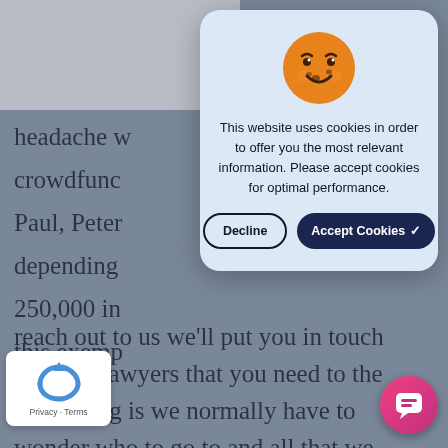KoreC
headache w crowdfunc Paul, Peter depending 250,000 in this exemp
[Figure (screenshot): Cookie consent dialog with orange cookie emoji face, message 'This website uses cookies in order to offer you the most relevant information. Please accept cookies for optimal performance.', with Decline and Accept Cookies buttons on light blue background]
reach out to us we'll put you in touch with the lawyers that you need to the good thing is we normally have to wonder who to go to and all that we know the go to people now. They're there. That's what's so much further ahead than we were in 2015. So much further.
an association. We have trained professi the the investor acquisition, we have th lawyers, we have the auditors, we have the funding